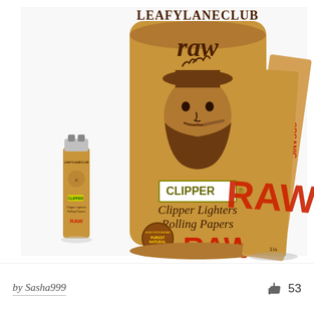[Figure (photo): Product photo showing LEAFYLANECLUB branded items: a Clipper lighter on the left with the Raw logo and 'Clipper Lighters Rolling Papers' text, a large cylindrical container in the center with a bearded man illustration and 'CLIPPER Clipper Lighters Rolling Papers RAW NATURAL UNREFINED ROLLING PAPERS' text and RAW logo, and RAW rolling papers booklets on the right including an ORGANIC variety.]
by Sasha999
53